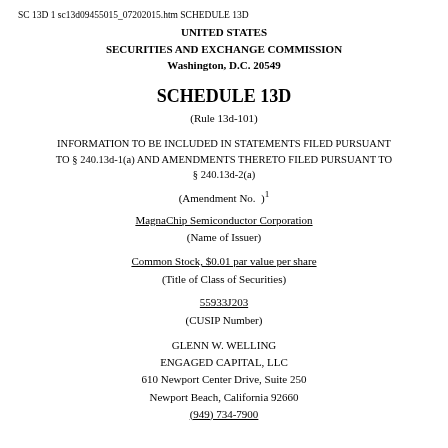SC 13D 1 sc13d09455015_07202015.htm SCHEDULE 13D
UNITED STATES
SECURITIES AND EXCHANGE COMMISSION
Washington, D.C. 20549
SCHEDULE 13D
(Rule 13d-101)
INFORMATION TO BE INCLUDED IN STATEMENTS FILED PURSUANT TO § 240.13d-1(a) AND AMENDMENTS THERETO FILED PURSUANT TO § 240.13d-2(a)
(Amendment No.  )1
MagnaChip Semiconductor Corporation
(Name of Issuer)
Common Stock, $0.01 par value per share
(Title of Class of Securities)
55933J203
(CUSIP Number)
GLENN W. WELLING
ENGAGED CAPITAL, LLC
610 Newport Center Drive, Suite 250
Newport Beach, California 92660
(949) 734-7900